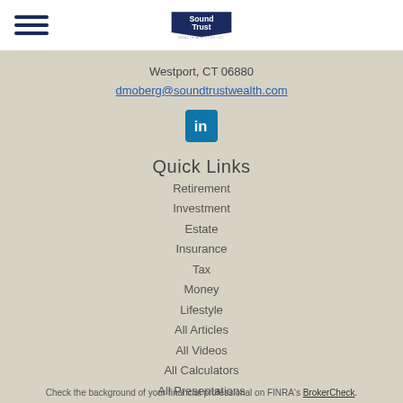[Figure (logo): Sound Trust Wealth Advisors LLC logo with hamburger menu icon]
Westport, CT 06880
dmoberg@soundtrustwealth.com
[Figure (illustration): LinkedIn icon - blue square with 'in' logo]
Quick Links
Retirement
Investment
Estate
Insurance
Tax
Money
Lifestyle
All Articles
All Videos
All Calculators
All Presentations
Check the background of your financial professional on FINRA's BrokerCheck.